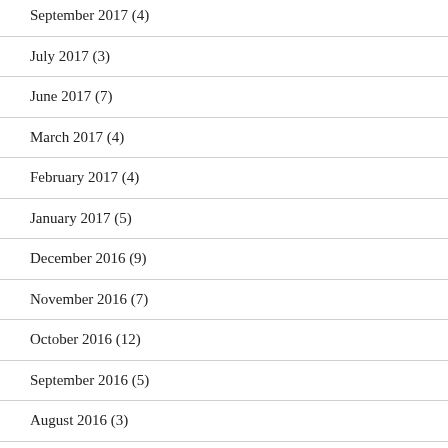September 2017 (4)
July 2017 (3)
June 2017 (7)
March 2017 (4)
February 2017 (4)
January 2017 (5)
December 2016 (9)
November 2016 (7)
October 2016 (12)
September 2016 (5)
August 2016 (3)